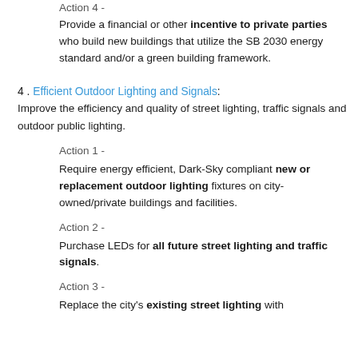Action 4 -
Provide a financial or other incentive to private parties who build new buildings that utilize the SB 2030 energy standard and/or a green building framework.
4 . Efficient Outdoor Lighting and Signals: Improve the efficiency and quality of street lighting, traffic signals and outdoor public lighting.
Action 1 -
Require energy efficient, Dark-Sky compliant new or replacement outdoor lighting fixtures on city-owned/private buildings and facilities.
Action 2 -
Purchase LEDs for all future street lighting and traffic signals.
Action 3 -
Replace the city's existing street lighting with